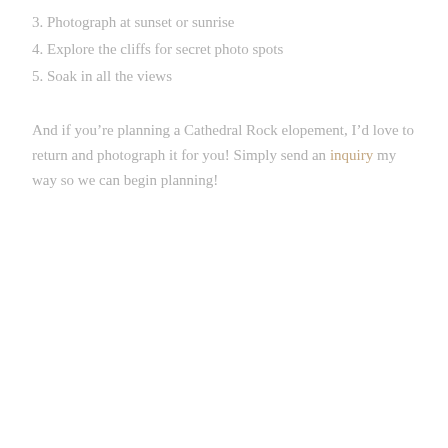3. Photograph at sunset or sunrise
4. Explore the cliffs for secret photo spots
5. Soak in all the views
And if you’re planning a Cathedral Rock elopement, I’d love to return and photograph it for you! Simply send an inquiry my way so we can begin planning!